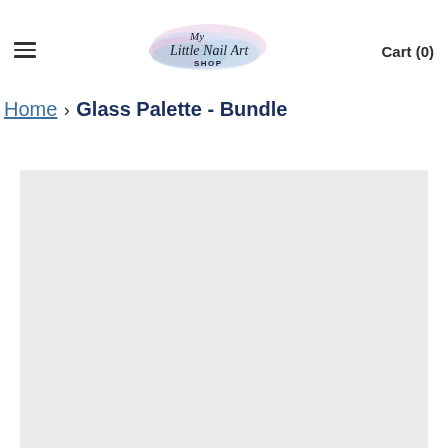My Little Nail Art SHOP — Cart (0)
Home › Glass Palette - Bundle
[Figure (photo): Product image placeholder area with light gray background for Glass Palette - Bundle product]